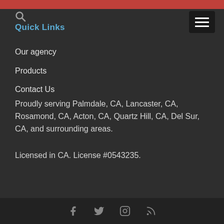Quick Links
Our agency
Products
Contact Us
Proudly serving Palmdale, CA, Lancaster, CA, Rosamond, CA, Acton, CA, Quartz Hill, CA, Del Sur, CA, and surrounding areas.
Licensed in CA. License #0543235.
Social media icons: Facebook, Twitter, Instagram, RSS